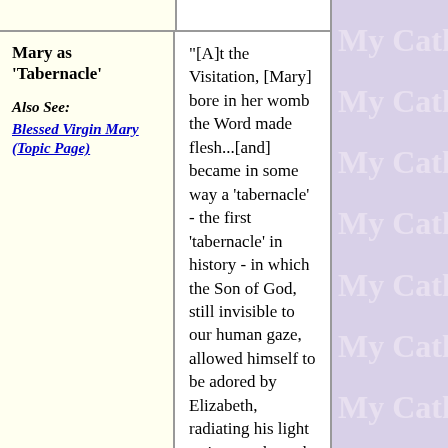| Mary as 'Tabernacle' | Quotes |
| --- | --- |
| Mary as 'Tabernacle'

Also See: Blessed Virgin Mary (Topic Page) | "[A]t the Visitation, [Mary] bore in her womb the Word made flesh...[and] became in some way a 'tabernacle' - the first 'tabernacle' in history - in which the Son of God, still invisible to our human gaze, allowed himself to be adored by Elizabeth, radiating his light as it were through the eyes and the voice of Mary." (Pope John Paul II, 2003 A.D.)

"He, whom earth, and sea, and the firmament, worship, adore, and praise; he, the King of the triple... |